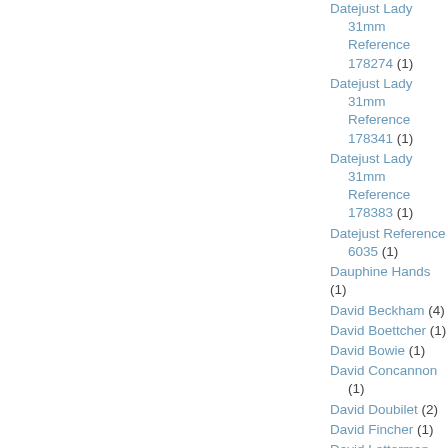Datejust Lady 31mm Reference 178274 (1)
Datejust Lady 31mm Reference 178341 (1)
Datejust Lady 31mm Reference 178383 (1)
Datejust Reference 6035 (1)
Dauphine Hands (1)
David Beckham (4)
David Boettcher (1)
David Bowie (1)
David Concannon (1)
David Doubilet (2)
David Fincher (1)
David Letterman (1)
David Rockefeller